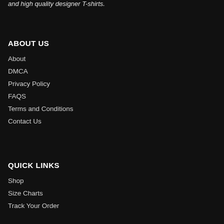and high quality designer T-shirts.
ABOUT US
About
DMCA
Privacy Policy
FAQS
Terms and Conditions
Contact Us
QUICK LINKS
Shop
Size Charts
Track Your Order